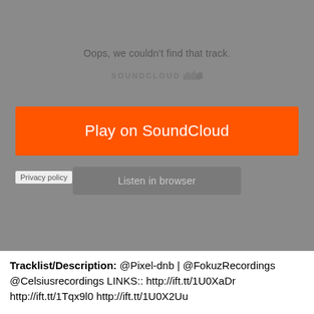[Figure (screenshot): SoundCloud embedded player showing error state: 'Oops, we couldn't find that track.' with SoundCloud logo, an orange 'Play on SoundCloud' button, a grey 'Listen in browser' button, and a 'Privacy policy' link at the bottom left. Background is grey.]
Tracklist/Description: @Pixel-dnb | @FokuzRecordings @Celsiusrecordings LINKS:: http://ift.tt/1U0XaDr http://ift.tt/1Tqx9l0 http://ift.tt/1U0X2Uu